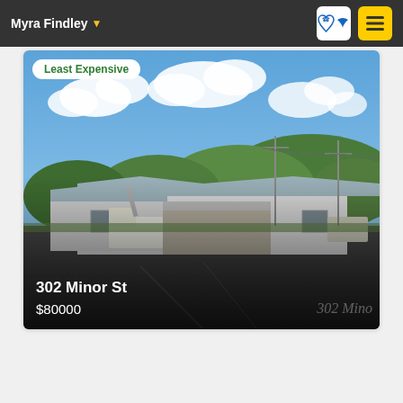Myra Findley
[Figure (photo): Exterior photo of a white single-story commercial/residential building at 302 Minor St with a covered porch, parking lot in foreground, utility truck on left, green wooded hills in background, blue sky with clouds. Badge reads 'Least Expensive'.]
302 Minor St
$80000